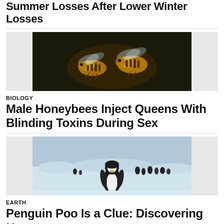Summer Losses After Lower Winter Losses
[Figure (photo): Close-up photograph of two honeybees in flight, showing detailed wing and body structure against a dark background.]
BIOLOGY
Male Honeybees Inject Queens With Blinding Toxins During Sex
[Figure (photo): Photograph of a lone emperor penguin standing on snow and ice, with a colony of penguins visible in the background.]
EARTH
Penguin Poo Is a Clue: Discovering New Penguin Colonies From Space